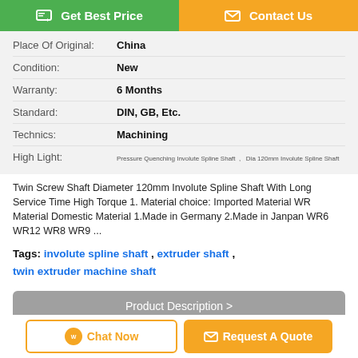Get Best Price | Contact Us
| Property | Value |
| --- | --- |
| Place Of Original: | China |
| Condition: | New |
| Warranty: | 6 Months |
| Standard: | DIN, GB, Etc. |
| Technics: | Machining |
| High Light: | Pressure Quenching Involute Spline Shaft, Dia 120mm Involute Spline Shaft |
Twin Screw Shaft Diameter 120mm Involute Spline Shaft With Long Service Time High Torque 1. Material choice: Imported Material WR Material Domestic Material 1.Made in Germany 2.Made in Janpan WR6 WR12 WR8 WR9 ...
Tags: involute spline shaft , extruder shaft , twin extruder machine shaft
Product Description >
Get the Best Price for
Chat Now | Request A Quote